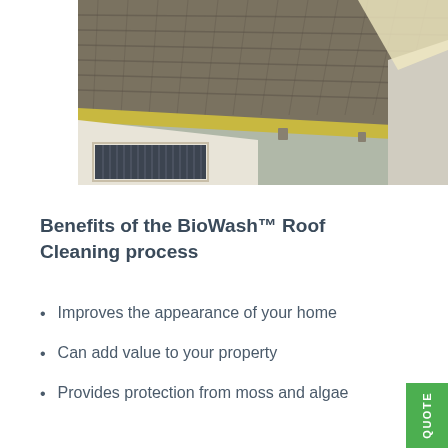[Figure (photo): Photograph of a residential roof with dark clay/concrete tiles viewed from above at an angle, showing guttering along the eaves edge with yellow/cream fascia boards, a white rendered wall below with a window featuring vertical blinds, and additional roofing visible in the background.]
Benefits of the BioWash™ Roof Cleaning process
Improves the appearance of your home
Can add value to your property
Provides protection from moss and algae